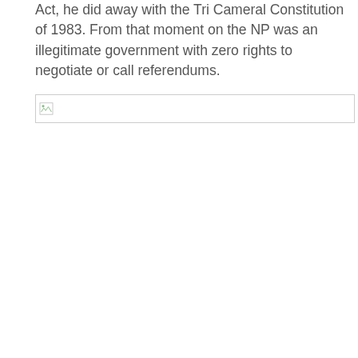Act, he did away with the Tri Cameral Constitution of 1983. From that moment on the NP was an illegitimate government with zero rights to negotiate or call referendums.
[Figure (photo): Broken/missing image placeholder shown with a small image icon and border]